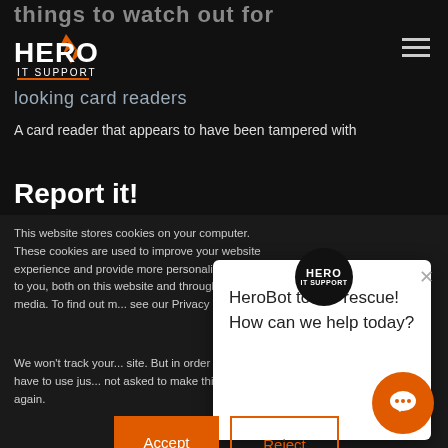Things to watch out for
[Figure (logo): Hero IT Support logo with flame icon, white text on dark background]
looking card readers
A card reader that appears to have been tampered with
Report it!
This website stores cookies on your computer. These cookies are used to improve your website experience and provide more personalized services to you, both on this website and through other media. To find out more about the cookies we use, see our Privacy Poli...
We won't track your ... site. But in order to c... we'll have to use jus... not asked to make this choice again.
[Figure (logo): HeroBot chat popup with Hero IT Support circular logo and message: HeroBoT to the rescue! How can we help today?]
HeroBot to the rescue! How can we help today?
Accept
Reject